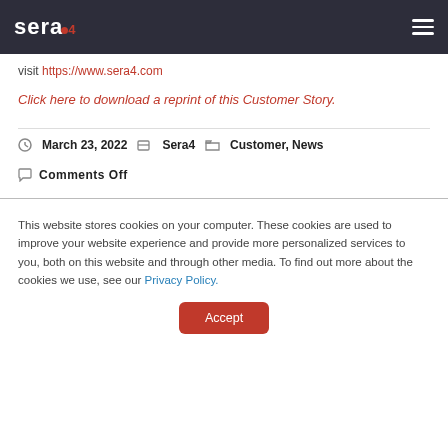sera4
visit https://www.sera4.com
Click here to download a reprint of this Customer Story.
March 23, 2022   Sera4   Customer, News
Comments Off
This website stores cookies on your computer. These cookies are used to improve your website experience and provide more personalized services to you, both on this website and through other media. To find out more about the cookies we use, see our Privacy Policy.
Accept